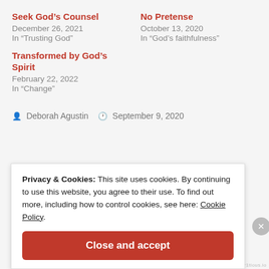Seek God’s Counsel
December 26, 2021
In “Trusting God”
No Pretense
October 13, 2020
In “God’s faithfulness”
Transformed by God’s Spirit
February 22, 2022
In “Change”
• Deborah Agustin   ⏰ September 9, 2020
Privacy & Cookies: This site uses cookies. By continuing to use this website, you agree to their use. To find out more, including how to control cookies, see here: Cookie Policy.
Close and accept